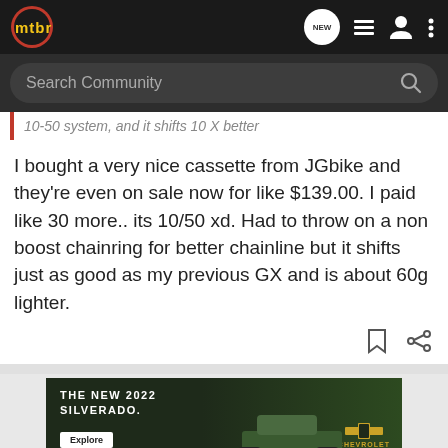[Figure (screenshot): MTBR forum website header navigation bar with logo, NEW bubble, list icon, user icon, and more options icon]
[Figure (screenshot): Search Community search bar on dark background]
10-50 system, and it shifts 10 X better
I bought a very nice cassette from JGbike and they're even on sale now for like $139.00. I paid like 30 more.. its 10/50 xd. Had to throw on a non boost chainring for better chainline but it shifts just as good as my previous GX and is about 60g lighter.
[Figure (screenshot): The New 2022 Silverado Chevrolet advertisement banner with Explore button]